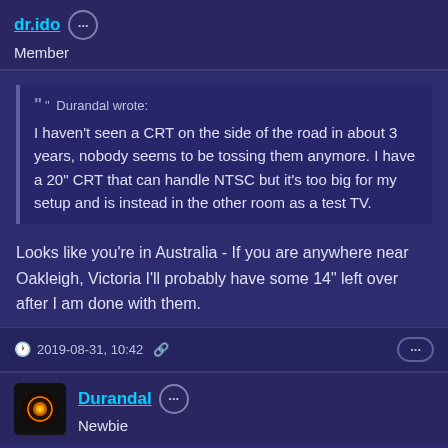dr.ido
Member
Durandal wrote: I haven't seen a CRT on the side of the road in about 3 years, nobody seems to be tossing them anymore. I have a 20" CRT that can handle NTSC but it's too big for my setup and is instead in the other room as a test TV.
Looks like you're in Australia - If you are anywhere near Oakleigh, Victoria I'll probably have some 14" left over after I am done with them.
2019-08-31, 10:42
Durandal
Newbie